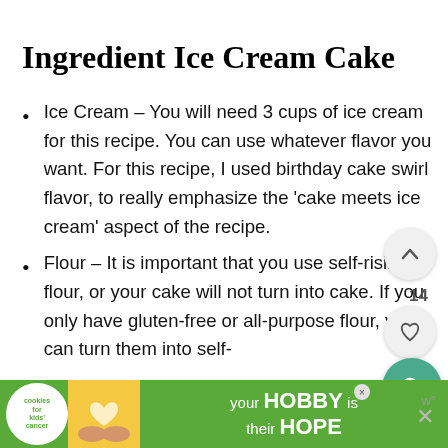Ingredient Ice Cream Cake
Ice Cream – You will need 3 cups of ice cream for this recipe. You can use whatever flavor you want. For this recipe, I used birthday cake swirl flavor, to really emphasize the 'cake meets ice cream' aspect of the recipe.
Flour – It is important that you use self-rising flour, or your cake will not turn into cake. If you only have gluten-free or all-purpose flour, you can turn them into self-
[Figure (screenshot): Advertisement banner: Cookies for Kids' Cancer with 'your HOBBY is their HOPE' text and close buttons]